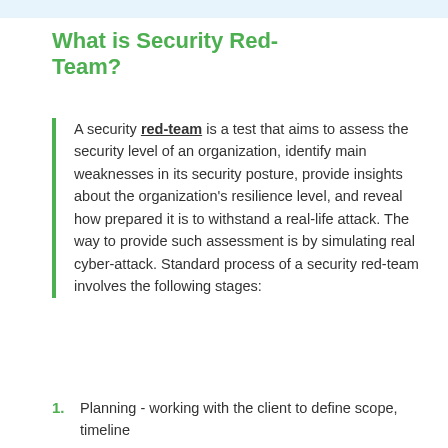What is Security Red-Team?
A security red-team is a test that aims to assess the security level of an organization, identify main weaknesses in its security posture, provide insights about the organization's resilience level, and reveal how prepared it is to withstand a real-life attack. The way to provide such assessment is by simulating real cyber-attack. Standard process of a security red-team involves the following stages:
Planning - working with the client to define scope, timeline